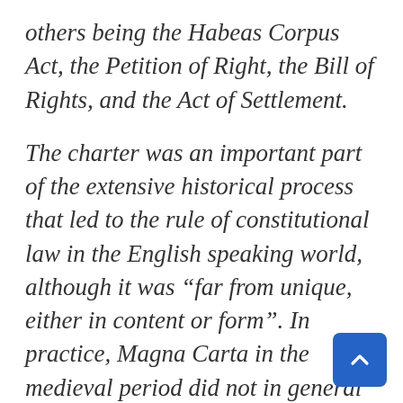others being the Habeas Corpus Act, the Petition of Right, the Bill of Rights, and the Act of Settlement.
The charter was an important part of the extensive historical process that led to the rule of constitutional law in the English speaking world, although it was “far from unique, either in content or form”. In practice, Magna Carta in the medieval period did not in general limit the power of kings, but by the time of the English Civil